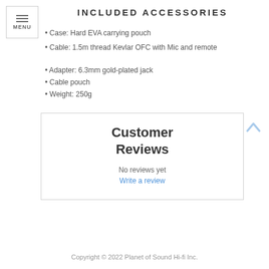INCLUDED ACCESSORIES
• Case: Hard EVA carrying pouch
• Cable: 1.5m thread Kevlar OFC with Mic and remote
• Adapter: 6.3mm gold-plated jack
• Cable pouch
• Weight: 250g
Customer Reviews
No reviews yet
Write a review
Copyright © 2022 Planet of Sound Hi-fi Inc.